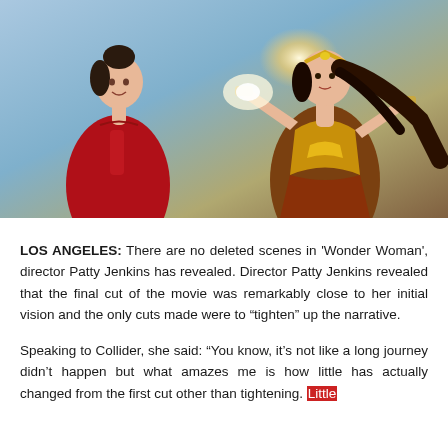[Figure (photo): Composite photo: on the left, a woman in a red dress (Gal Gadot at a premiere); on the right, Wonder Woman character in costume with golden accessories, action pose with bright light effect behind her.]
LOS ANGELES: There are no deleted scenes in ‘Wonder Woman’, director Patty Jenkins has revealed. Director Patty Jenkins revealed that the final cut of the movie was remarkably close to her initial vision and the only cuts made were to “tighten” up the narrative.
Speaking to Collider, she said: “You know, it’s not like a long journey didn’t happen but what amazes me is how little has actually changed from the first cut other than tightening. Little